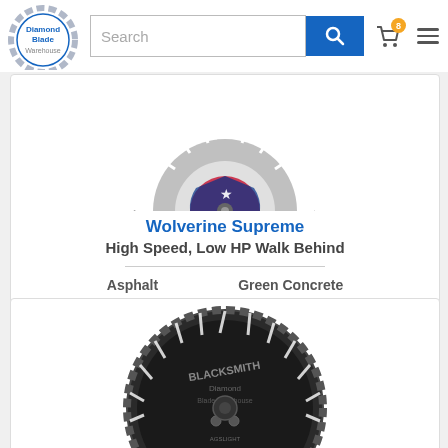[Figure (logo): Diamond Blade Warehouse circular logo with blue gear-like border]
[Figure (screenshot): Website header with search bar and blue search button, cart icon with badge showing 8, hamburger menu icon]
[Figure (photo): Diamond saw blade - Wolverine Supreme, partially shown, with American flag design on hub]
Wolverine Supreme
High Speed, Low HP Walk Behind
Asphalt    Green Concrete
[Figure (photo): Black diamond saw blade - Blacksmith, full circular blade shown]